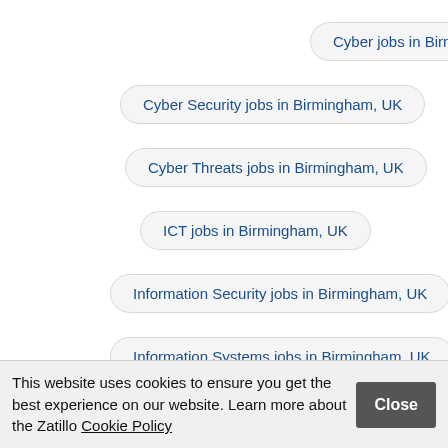Cyber jobs in Birmingham, UK
Cyber Security jobs in Birmingham, UK
Cyber Threats jobs in Birmingham, UK
ICT jobs in Birmingham, UK
Information Security jobs in Birmingham, UK
Information Systems jobs in Birmingham, UK
Infosec jobs in Birmingham, UK
Internet Security jobs in Birmingham, UK
This website uses cookies to ensure you get the best experience on our website. Learn more about the Zatillo Cookie Policy